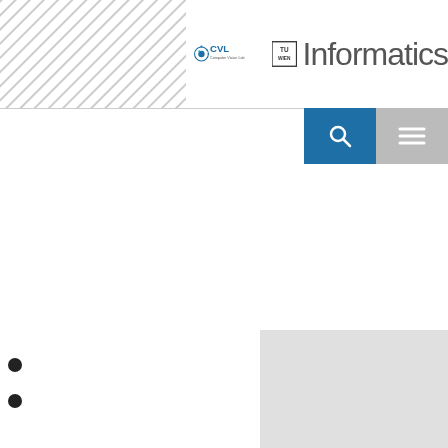CVL TU Wien Informatics
[Figure (other): Gray placeholder box in bottom-right area of the page]